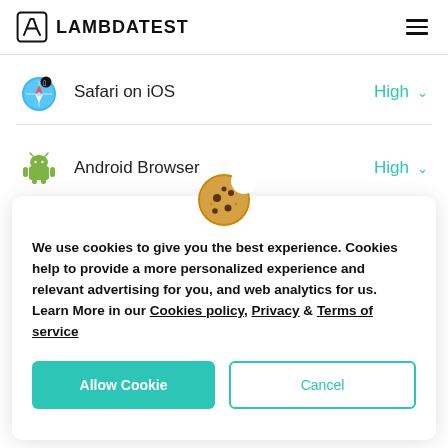LAMBDATEST
Safari on iOS — High
Android Browser — High
[Figure (illustration): Cookie emoji icon used as header for cookie consent modal]
We use cookies to give you the best experience. Cookies help to provide a more personalized experience and relevant advertising for you, and web analytics for us. Learn More in our Cookies policy, Privacy & Terms of service
Allow Cookie | Cancel